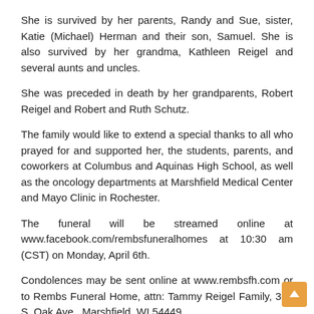She is survived by her parents, Randy and Sue, sister, Katie (Michael) Herman and their son, Samuel. She is also survived by her grandma, Kathleen Reigel and several aunts and uncles.
She was preceded in death by her grandparents, Robert Reigel and Robert and Ruth Schutz.
The family would like to extend a special thanks to all who prayed for and supported her, the students, parents, and coworkers at Columbus and Aquinas High School, as well as the oncology departments at Marshfield Medical Center and Mayo Clinic in Rochester.
The funeral will be streamed online at www.facebook.com/rembsfuneralhomes at 10:30 am (CST) on Monday, April 6th.
Condolences may be sent online at www.rembsfh.com or to Rembs Funeral Home, attn: Tammy Reigel Family, 300 S. Oak Ave., Marshfield, WI 54449.